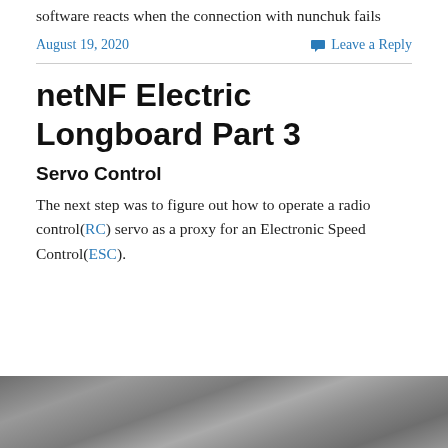software reacts when the connection with nunchuk fails
August 19, 2020
Leave a Reply
netNF Electric Longboard Part 3
Servo Control
The next step was to figure out how to operate a radio control(RC) servo as a proxy for an Electronic Speed Control(ESC).
[Figure (photo): A dark gray textured surface, likely a close-up photo of a longboard or mechanical component.]